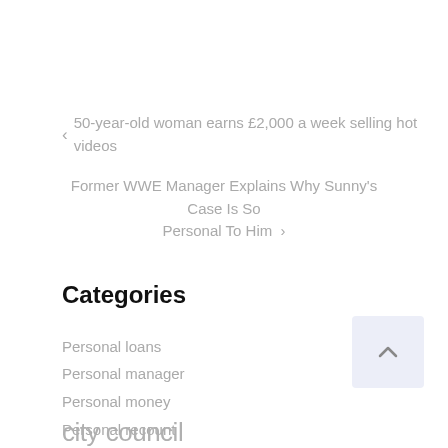< 50-year-old woman earns £2,000 a week selling hot videos
Former WWE Manager Explains Why Sunny's Case Is So Personal To Him >
Categories
Personal loans
Personal manager
Personal money
Personal recount
Personal selling
city council